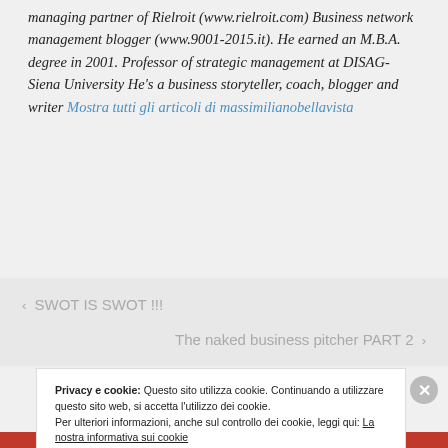managing partner of Rielroit (www.rielroit.com) Business network management blogger (www.9001-2015.it). He earned an M.B.A. degree in 2001. Professor of strategic management at DISAG- Siena University He's a business storyteller, coach, blogger and writer Mostra tutti gli articoli di massimilianobellavista
‹ SWOT IS SWOT !!!
The naked business pitcher PART 2 ›
Privacy e cookie: Questo sito utilizza cookie. Continuando a utilizzare questo sito web, si accetta l'utilizzo dei cookie.
Per ulteriori informazioni, anche sul controllo dei cookie, leggi qui: La nostra informativa sui cookie
Chiudi e accetta